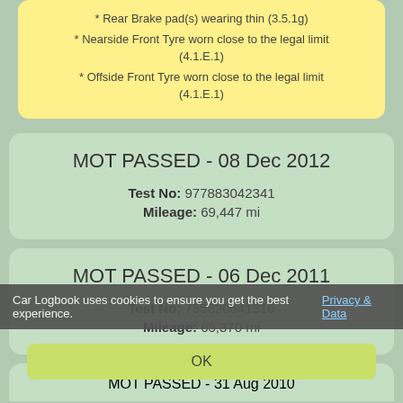* Rear Brake pad(s) wearing thin (3.5.1g)
* Nearside Front Tyre worn close to the legal limit (4.1.E.1)
* Offside Front Tyre worn close to the legal limit (4.1.E.1)
MOT PASSED - 08 Dec 2012
Test No: 977883042341
Mileage: 69,447 mi
MOT PASSED - 06 Dec 2011
Test No: 755620641316
Mileage: 65,370 mi
Car Logbook uses cookies to ensure you get the best experience. Privacy & Data
OK
MOT PASSED - 31 Aug 2010